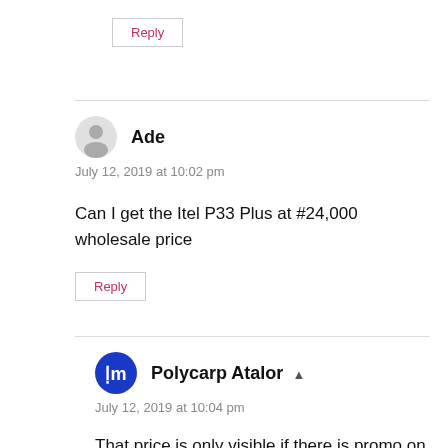Reply
Ade
July 12, 2019 at 10:02 pm
Can I get the Itel P33 Plus at #24,000 wholesale price
Reply
Polycarp Atalor
July 12, 2019 at 10:04 pm
That price is only visible if there is promo on